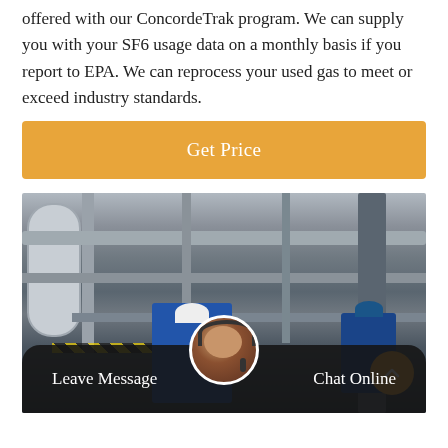offered with our ConcordeTrak program. We can supply you with your SF6 usage data on a monthly basis if you report to EPA. We can reprocess your used gas to meet or exceed industry standards.
Get Price
[Figure (photo): Industrial facility photo showing workers in blue coveralls and hard hats working with pipes and equipment. Two workers visible, one in white helmet crouching over machinery, another in blue helmet at right. Large industrial piping, tanks, and warning tape visible in background.]
Leave Message
Chat Online